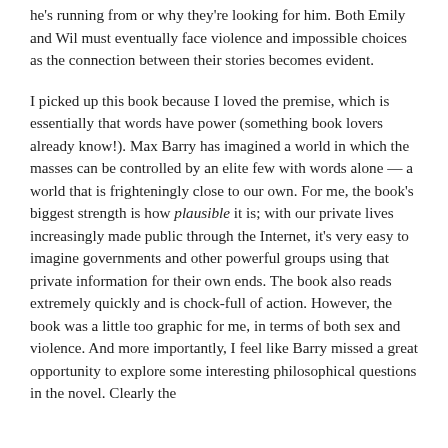he's running from or why they're looking for him. Both Emily and Wil must eventually face violence and impossible choices as the connection between their stories becomes evident.
I picked up this book because I loved the premise, which is essentially that words have power (something book lovers already know!). Max Barry has imagined a world in which the masses can be controlled by an elite few with words alone — a world that is frighteningly close to our own. For me, the book's biggest strength is how plausible it is; with our private lives increasingly made public through the Internet, it's very easy to imagine governments and other powerful groups using that private information for their own ends. The book also reads extremely quickly and is chock-full of action. However, the book was a little too graphic for me, in terms of both sex and violence. And more importantly, I feel like Barry missed a great opportunity to explore some interesting philosophical questions in the novel. Clearly the